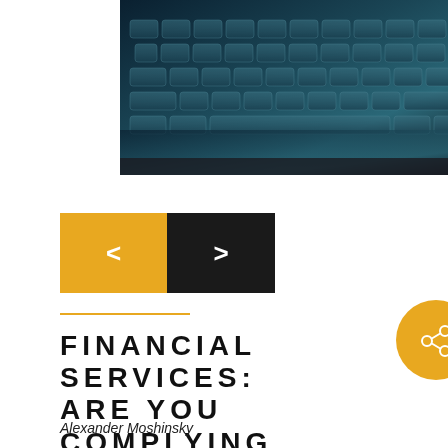[Figure (photo): Close-up photo of a laptop keyboard with dark teal/blue tones]
FINANCIAL SERVICES: ARE YOU COMPLYING WITH NYS'S NEW CYBERSECURITY MANDATES?
Alexander Moshinsky